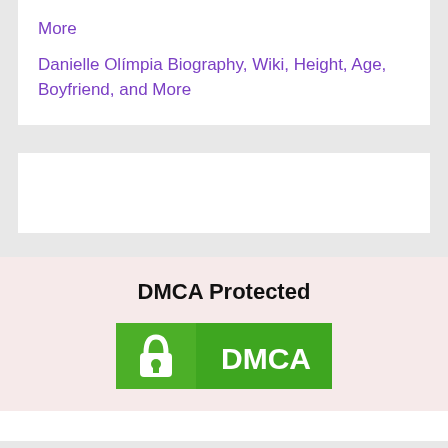More
Danielle Olímpia Biography, Wiki, Height, Age, Boyfriend, and More
DMCA Protected
[Figure (logo): DMCA protection badge — green rectangle with a white padlock icon on the left and white text 'DMCA' on the right]